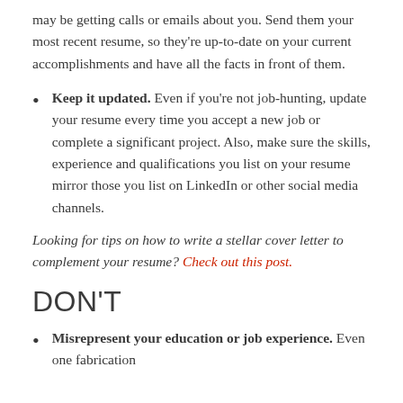may be getting calls or emails about you. Send them your most recent resume, so they're up-to-date on your current accomplishments and have all the facts in front of them.
Keep it updated. Even if you're not job-hunting, update your resume every time you accept a new job or complete a significant project. Also, make sure the skills, experience and qualifications you list on your resume mirror those you list on LinkedIn or other social media channels.
Looking for tips on how to write a stellar cover letter to complement your resume? Check out this post.
DON'T
Misrepresent your education or job experience. Even one fabrication